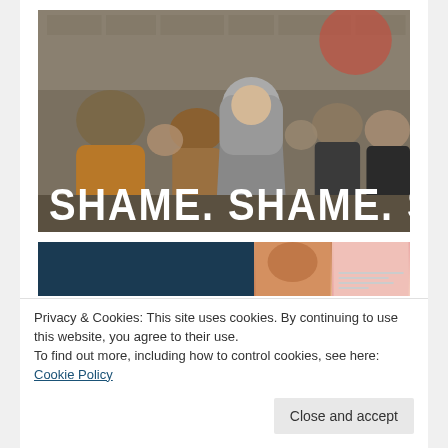[Figure (photo): A scene showing a woman in a gray hooded robe (nun-like figure) walking through a crowd, with text overlay reading 'SHAME. SHAME. SHAME.' in bold white uppercase letters. Background shows stone architecture and crowd of people. Resembles a Game of Thrones screenshot/meme.]
[Figure (screenshot): Partially visible banner strip with a dark teal/navy blue panel on the left and two smaller image thumbnails on the right.]
Privacy & Cookies: This site uses cookies. By continuing to use this website, you agree to their use.
To find out more, including how to control cookies, see here: Cookie Policy
Close and accept